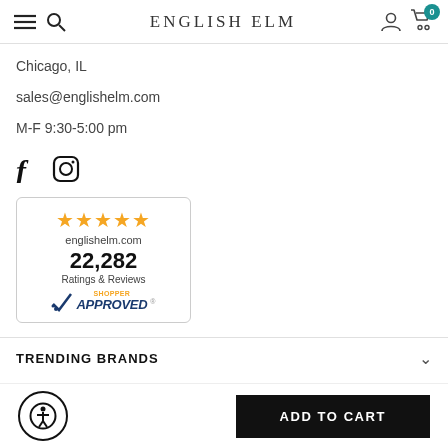ENGLISH ELM
Chicago, IL
sales@englishelm.com
M-F 9:30-5:00 pm
[Figure (logo): Facebook and Instagram social media icons]
[Figure (logo): Shopper Approved badge: 5 stars, englishelm.com, 22,282 Ratings & Reviews]
TRENDING BRANDS
[Figure (logo): Accessibility icon (person in circle)]
ADD TO CART